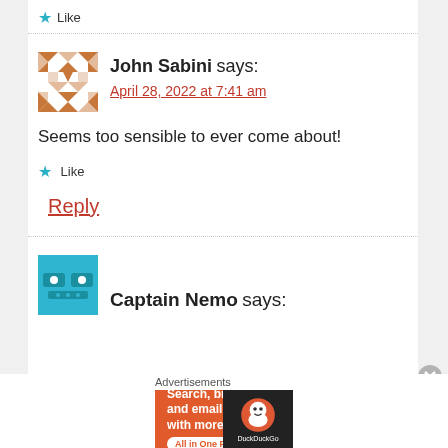★ Like
John Sabini says: April 28, 2022 at 7:41 am
Seems too sensible to ever come about!
★ Like
Reply
Captain Nemo says:
Advertisements
[Figure (other): DuckDuckGo advertisement banner: Search, browse, and email with more privacy. All in One Free App. DuckDuckGo logo on dark background.]